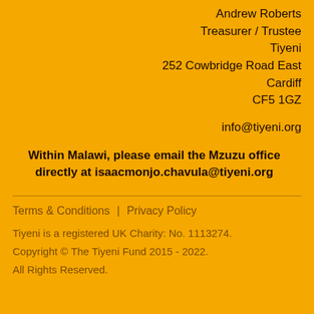Andrew Roberts
Treasurer / Trustee
Tiyeni
252 Cowbridge Road East
Cardiff
CF5 1GZ
info@tiyeni.org
Within Malawi, please email the Mzuzu office directly at isaacmonjo.chavula@tiyeni.org
Terms & Conditions  |  Privacy Policy
Tiyeni is a registered UK Charity: No. 1113274.
Copyright © The Tiyeni Fund 2015 - 2022.
All Rights Reserved.